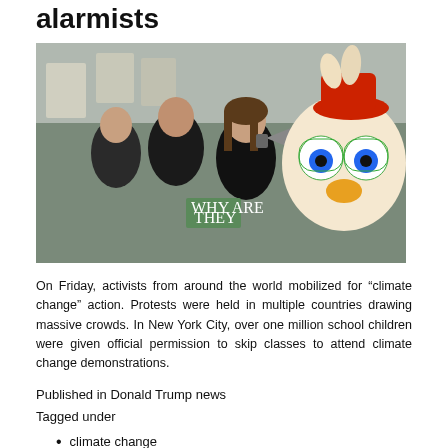alarmists
[Figure (photo): Protest crowd with signs and a person holding a Chicken Little cartoon character mask with green glasses]
On Friday, activists from around the world mobilized for “climate change” action. Protests were held in multiple countries drawing massive crowds. In New York City, over one million school children were given official permission to skip classes to attend climate change demonstrations.
Published in Donald Trump news
Tagged under
climate change
Donald Trump